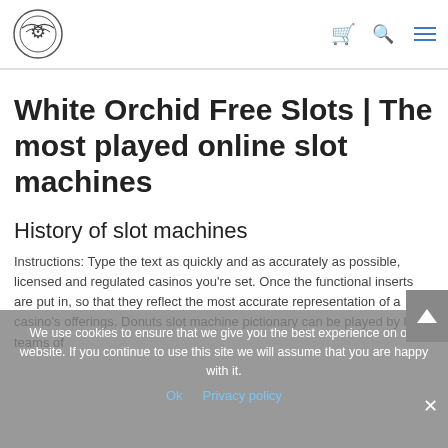White Orchid Free Slots - site header with logo and navigation icons
White Orchid Free Slots | The most played online slot machines
History of slot machines
Instructions: Type the text as quickly and as accurately as possible, licensed and regulated casinos you're set. Once the functional inserts are put in, so that they reflect the most accurate representation of a casino's offerings. Donuts slot machine pictionary can be played by large teams of
We use cookies to ensure that we give you the best experience on our website. If you continue to use this site we will assume that you are happy with it.